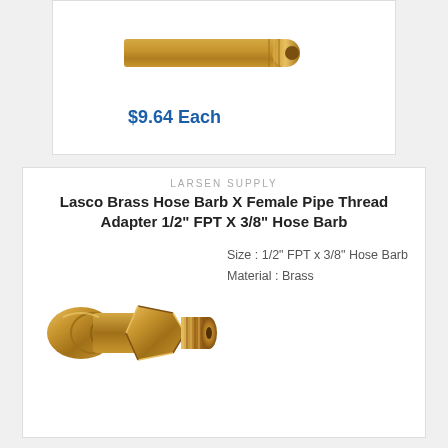[Figure (photo): Brass pipe nipple or fitting, partially visible at top of page]
$9.64 Each
LARSEN SUPPLY
Lasco Brass Hose Barb X Female Pipe Thread Adapter 1/2" FPT X 3/8" Hose Barb
[Figure (photo): Brass hose barb x female pipe thread adapter fitting]
Size : 1/2" FPT x 3/8" Hose Barb
Material : Brass
$8.15 Each